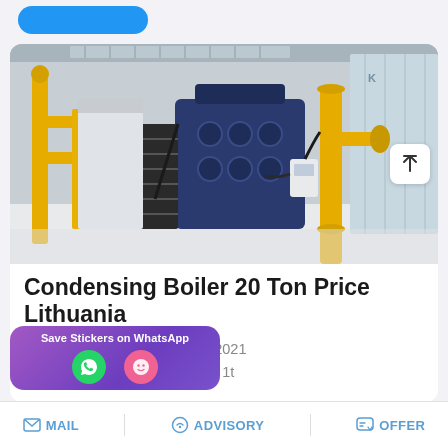[Figure (photo): Industrial boiler room with large blue boilers, yellow gas pipes, and black metal staircases in a white-walled facility.]
Condensing Boiler 20 Ton Price Lithuania
Plant Seller Armenia. Oct 12, 2021 ergy Saving 1t Armenia dealer 1t
[Figure (other): WhatsApp sticker save overlay with purple gradient background, green phone icon and pink emoji icon.]
MAIL   ADVISORY   OFFER